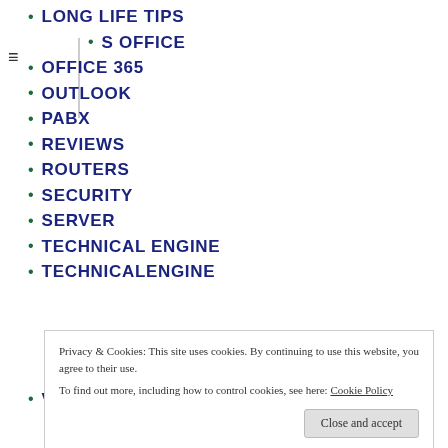LONG LIFE TIPS
S OFFICE
OFFICE 365
OUTLOOK
PABX
REVIEWS
ROUTERS
SECURITY
SERVER
TECHNICAL ENGINE
TECHNICALENGINE
Privacy & Cookies: This site uses cookies. By continuing to use this website, you agree to their use. To find out more, including how to control cookies, see here: Cookie Policy
VPN